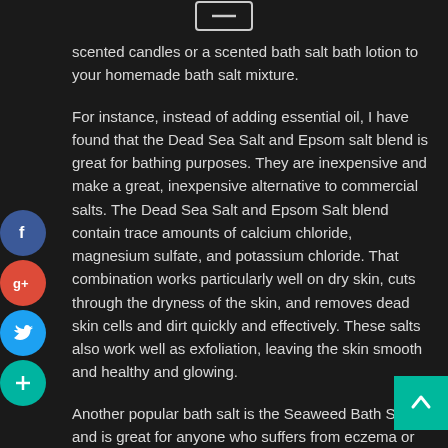[Figure (other): Minus/minimize icon at top center of page]
scented candles or a scented bath salt bath lotion to your homemade bath salt mixture.
For instance, instead of adding essential oil, I have found that the Dead Sea Salt and Epsom salt blend is great for bathing purposes. They are inexpensive and make a great, inexpensive alternative to commercial salts. The Dead Sea Salt and Epsom Salt blend contain trace amounts of calcium chloride, magnesium sulfate, and potassium chloride. That combination works particularly well on dry skin, cuts through the dryness of the skin, and removes dead skin cells and dirt quickly and effectively. These salts also work well as exfoliation, leaving the skin smooth and healthy and glowing.
Another popular bath salt is the Seaweed Bath Salts and is great for anyone who suffers from eczema or psoriasis. It also has properties that can help heal dry and cracked feet, elbows, heels, and knees.